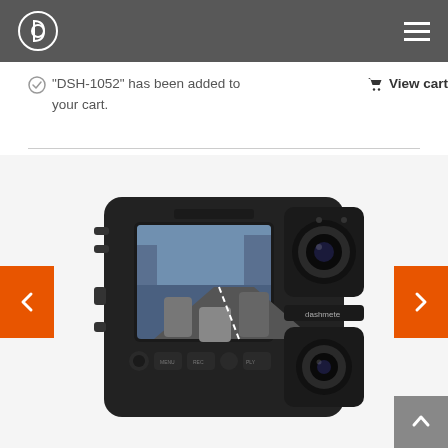Dashmate logo and navigation menu
"DSH-1052" has been added to your cart.
View cart
[Figure (photo): Dashmate DSH-1052 dual dash camera product photo showing front view with LCD screen displaying traffic footage, front-facing lens, and secondary wide-angle lens. Orange navigation arrows on left and right sides.]